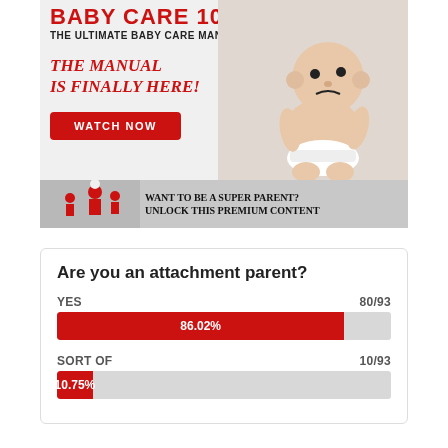[Figure (illustration): Baby Care 101 advertisement banner showing a crying baby in a diaper and a 'WATCH NOW' button. Bottom strip shows superhero family with text 'WANT TO BE A SUPER PARENT? UNLOCK THIS PREMIUM CONTENT']
Are you an attachment parent?
YES 80/93
86.02%
SORT OF 10/93
10.75%